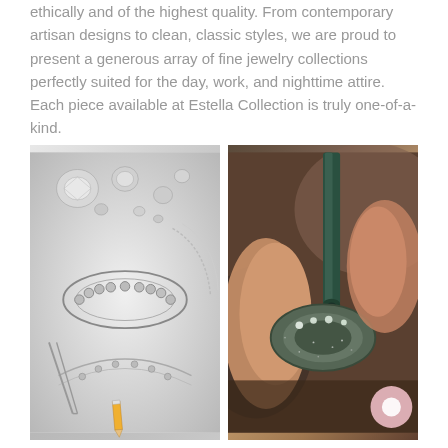ethically and of the highest quality. From contemporary artisan designs to clean, classic styles, we are proud to present a generous array of fine jewelry collections perfectly suited for the day, work, and nighttime attire. Each piece available at Estella Collection is truly one-of-a-kind.
[Figure (photo): A pencil sketch drawing of diamond rings and loose diamonds, with pencil and tweezers visible]
[Figure (photo): Close-up of a jeweler's hands using a tool to set diamonds into a ring, with a chat bubble icon overlay in the bottom right]